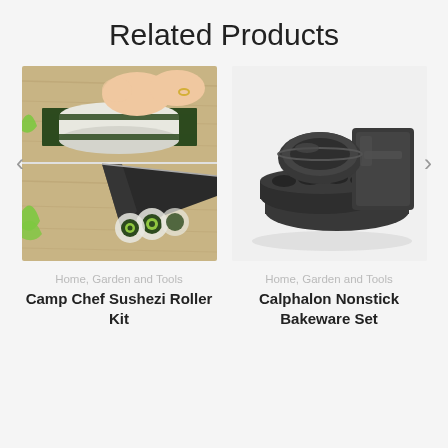Related Products
[Figure (photo): Two-panel photo showing hands rolling sushi on a bamboo mat with nori and rice (top panel), and a knife slicing sushi rolls showing cucumber filling (bottom panel).]
[Figure (photo): Product photo of Calphalon Nonstick Bakeware Set showing dark nonstick baking pans including a round cake pan, rectangular baking pan, and muffin pan arranged together.]
Home, Garden and Tools
Home, Garden and Tools
Camp Chef Sushezi Roller Kit
Calphalon Nonstick Bakeware Set